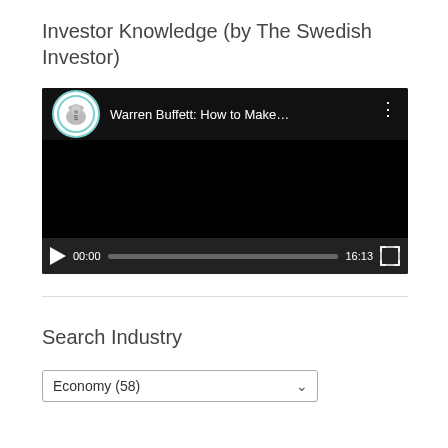Investor Knowledge (by The Swedish Investor)
[Figure (screenshot): Embedded YouTube video player showing 'Warren Buffett: How to Make...' by The Swedish Investor channel. Video is paused at 00:00 with total duration 16:13. Black video frame with channel logo (polar bear) and three-dot menu visible. Play button, progress bar, time, and fullscreen button visible in controls.]
Search Industry
Economy  (58)